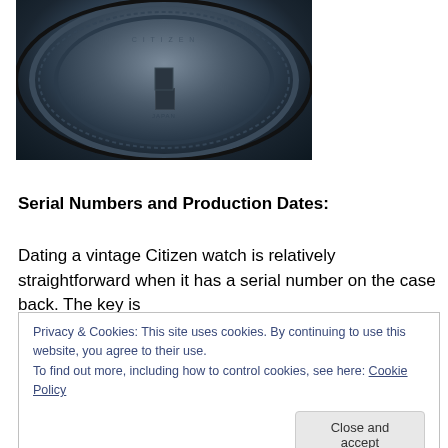[Figure (photo): Close-up photo of the back of a vintage Citizen watch case showing the circular case back with engraved markings and a small rectangular crown-winding post in the center.]
Serial Numbers and Production Dates:
Dating a vintage Citizen watch is relatively straightforward when it has a serial number on the case back. The key is
Privacy & Cookies: This site uses cookies. By continuing to use this website, you agree to their use.
To find out more, including how to control cookies, see here: Cookie Policy
[Close and accept]
pictured above left as an example, with a serial number of